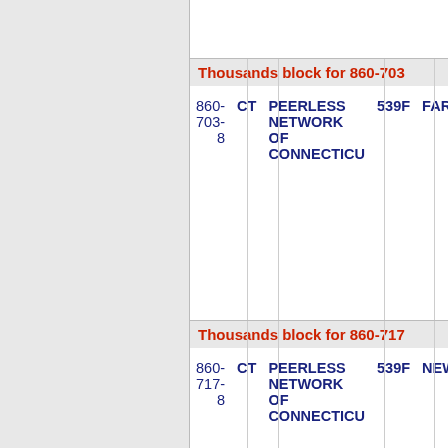Thousands block for 860-703
| Number | ST | Name | Code | Location |
| --- | --- | --- | --- | --- |
| 860-703-8 | CT | PEERLESS NETWORK OF CONNECTICU | 539F | FARMI... |
Thousands block for 860-717
| Number | ST | Name | Code | Location |
| --- | --- | --- | --- | --- |
| 860-717-8 | CT | PEERLESS NETWORK OF CONNECTICU | 539F | NEWM... |